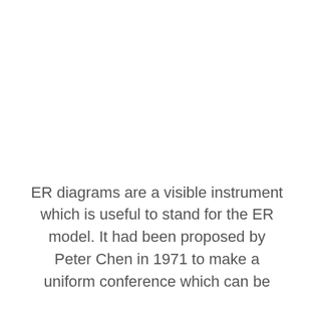ER diagrams are a visible instrument which is useful to stand for the ER model. It had been proposed by Peter Chen in 1971 to make a uniform conference which can be